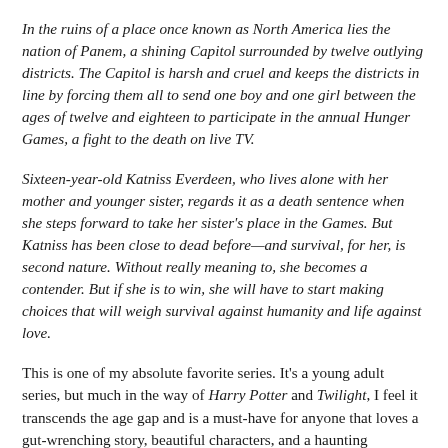In the ruins of a place once known as North America lies the nation of Panem, a shining Capitol surrounded by twelve outlying districts. The Capitol is harsh and cruel and keeps the districts in line by forcing them all to send one boy and one girl between the ages of twelve and eighteen to participate in the annual Hunger Games, a fight to the death on live TV.
Sixteen-year-old Katniss Everdeen, who lives alone with her mother and younger sister, regards it as a death sentence when she steps forward to take her sister's place in the Games. But Katniss has been close to dead before—and survival, for her, is second nature. Without really meaning to, she becomes a contender. But if she is to win, she will have to start making choices that will weigh survival against humanity and life against love.
This is one of my absolute favorite series. It's a young adult series, but much in the way of Harry Potter and Twilight, I feel it transcends the age gap and is a must-have for anyone that loves a gut-wrenching story, beautiful characters, and a haunting message.
Sincerely, I don't even know from where to...